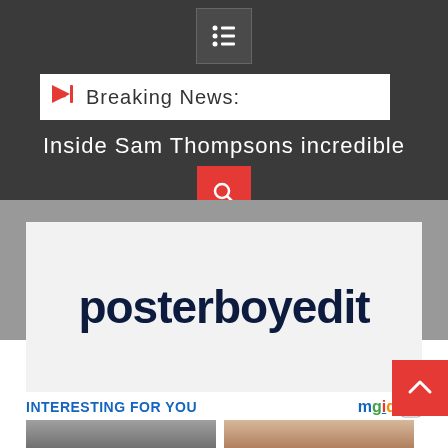[Figure (screenshot): Dark navigation header with hamburger/list menu icon]
Breaking News:
Inside Sam Thompsons incredible
[Figure (screenshot): Red search button with magnifying glass icon]
[Figure (logo): posterboyedit logo in dark navy bold text on light gray background]
INTERESTING FOR YOU
[Figure (logo): mgid logo with colorful letters and arrow icon]
[Figure (photo): Thumbnail of city street scene]
[Figure (photo): Thumbnail of person wearing headphones]